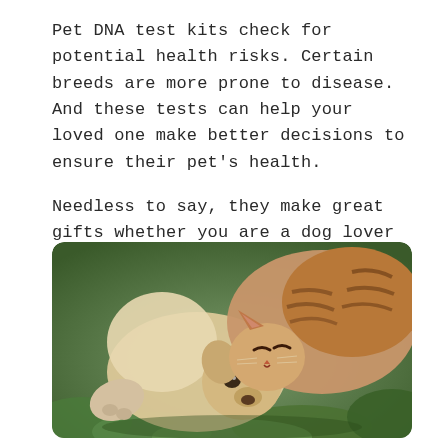Pet DNA test kits check for potential health risks. Certain breeds are more prone to disease. And these tests can help your loved one make better decisions to ensure their pet's health.

Needless to say, they make great gifts whether you are a dog lover or a cat person.
[Figure (photo): A cat and a puppy lying together on green foliage, both facing the camera. The cat is tabby-striped with orange and brown fur, and the puppy is light golden/cream colored. They are cuddled closely together.]